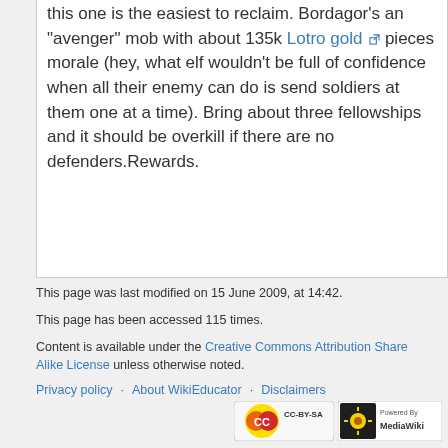this one is the easiest to reclaim. Bordagor's an “avenger” mob with about 135k Lotro gold pieces morale (hey, what elf wouldn’t be full of confidence when all their enemy can do is send soldiers at them one at a time). Bring about three fellowships and it should be overkill if there are no defenders.Rewards.
This page was last modified on 15 June 2009, at 14:42.
This page has been accessed 115 times.
Content is available under the Creative Commons Attribution Share Alike License unless otherwise noted.
Privacy policy · About WikiEducator · Disclaimers